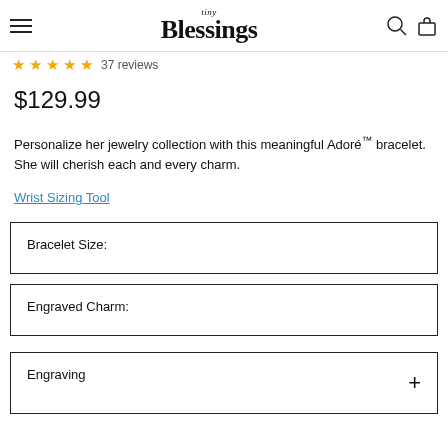tiny Blessings
★★★★★ 37 reviews
$129.99
Personalize her jewelry collection with this meaningful Adoré™ bracelet. She will cherish each and every charm.
Wrist Sizing Tool
Bracelet Size:
Engraved Charm:
Engraving